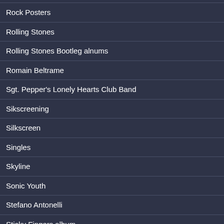Rock Posters
Rolling Stones
Rolling Stones Bootleg alnums
Romain Beltrame
Sgt. Pepper's Lonely Hearts Club Band
Sikscreening
Silkscreen
Singles
Skyline
Sonic Youth
Stefano Antonelli
Sticky Fingers album